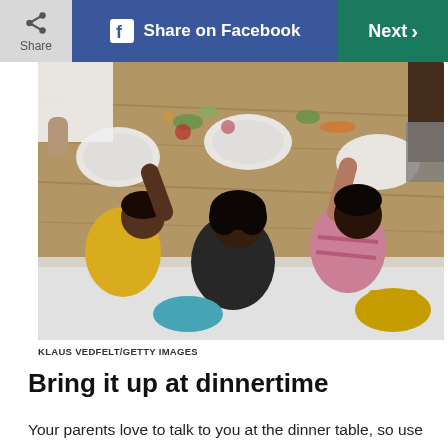Share | Share on Facebook | Next >
[Figure (photo): Overhead view of a family with children sitting around a wooden dining table with food, reaching across the table]
KLAUS VEDFELT/GETTY IMAGES
Bring it up at dinnertime
Your parents love to talk to you at the dinner table, so use this time to start a conversation about things your family values in the environment and ways you guys can work together to make it better, says Shel Horowitz, a green business